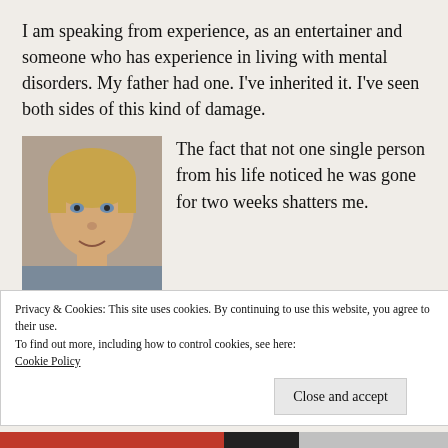I am speaking from experience, as an entertainer and someone who has experience in living with mental disorders. My father had one. I've inherited it. I've seen both sides of this kind of damage.
[Figure (photo): A young blond child smiling, shown from shoulders up, appears to be a school or portrait photo.]
The fact that not one single person from his life noticed he was gone for two weeks shatters me.
Privacy & Cookies: This site uses cookies. By continuing to use this website, you agree to their use.
To find out more, including how to control cookies, see here:
Cookie Policy
Close and accept